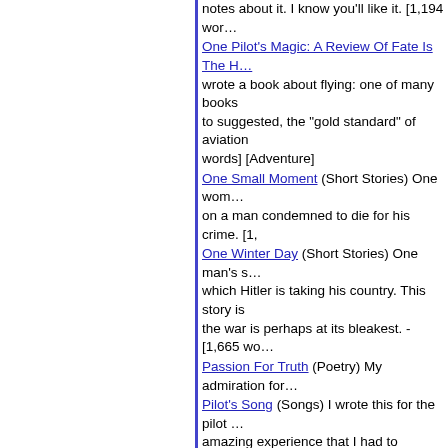notes about it. I know you'll like it. [1,194 wor…
One Pilot's Magic: A Review Of Fate Is The H… wrote a book about flying: one of many books to suggested, the "gold standard" of aviation words] [Adventure]
One Small Moment (Short Stories) One wom… on a man condemned to die for his crime. [1,
One Winter Day (Short Stories) One man's s… which Hitler is taking his country. This story is the war is perhaps at its bleakest. - [1,665 wo…
Passion For Truth (Poetry) My admiration for…
Pilot's Song (Songs) I wrote this for the pilot … amazing experience that I had to express my…
Plane Inspection (Short Stories) Aviation seri… put Andrew's decision about Anne into perspe… and see. [1,493 words] [Romance]
Preflight (Short Stories) Aviation Series Story begins a lively correspondence with Anne. W… and when he gets home, he admits to his cha…
Prelude To Separation (Short Stories) In 177… after some delay became the philosophical fo… This domestic scene on a hot, Virginia evenin…
Project Baby And Other Fourth Of July Adver… any day is probably never romantic, but you j by that opening line. And if that wasn't enoug… [Adventure]
Quiet Love: A Brett Mccarley Locomotive Eng… and the beginning of a marriage. [4,377 word…